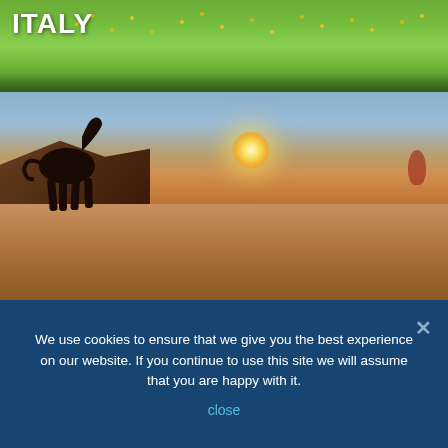[Figure (photo): Green meadow with yellow flowers and blue sky at top of page, with ITALY text overlay]
ITALY
[Figure (photo): Desert sunset landscape with horse silhouette and warm orange/golden sky]
Have a ride booked?
Looking to book a ride?
Click here to understand Active Riding Trip policy on Covid-19.
We use cookies to ensure that we give you the best experience on our website. If you continue to use this site we will assume that you are happy with it.
close